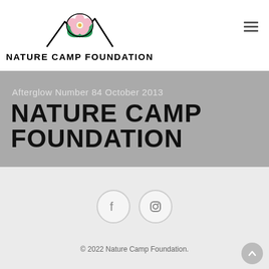[Figure (logo): Nature Camp Foundation logo with flower illustration and text 'NATURE CAMP FOUNDATION']
Afterglow Number 84 October 2013
NATURE CAMP FOUNDATION
[Figure (illustration): Footer with Facebook and Instagram social media icons in circular borders]
© 2022 Nature Camp Foundation.